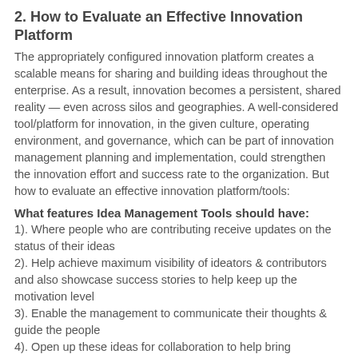2. How to Evaluate an Effective Innovation Platform
The appropriately configured innovation platform creates a scalable means for sharing and building ideas throughout the enterprise. As a result, innovation becomes a persistent, shared reality — even across silos and geographies. A well-considered tool/platform for innovation, in the given culture, operating environment, and governance, which can be part of innovation management planning and implementation, could strengthen the innovation effort and success rate to the organization. But how to evaluate an effective innovation platform/tools:
What features Idea Management Tools should have:
1). Where people who are contributing receive updates on the status of their ideas
2). Help achieve maximum visibility of ideators & contributors and also showcase success stories to help keep up the motivation level
3). Enable the management to communicate their thoughts & guide the people
4). Open up these ideas for collaboration to help bring